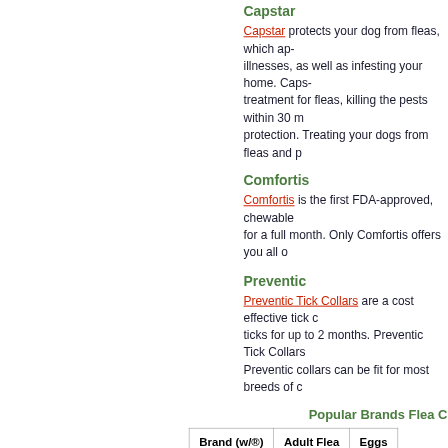Capstar
Capstar protects your dog from fleas, which ap- illnesses, as well as infesting your home. Caps- treatment for fleas, killing the pests within 30 m protection. Treating your dogs from fleas and p
Comfortis
Comfortis is the first FDA-approved, chewable for a full month. Only Comfortis offers you all o
Preventic
Preventic Tick Collars are a cost effective tick ticks for up to 2 months. Preventic Tick Collars Preventic collars can be fit for most breeds of c
Popular Brands Flea C
| Brand (w/®) | Adult Flea | Eggs |
| --- | --- | --- |
| Advocate / | Yes | - |
| Capstar | Yes | - |
| Frontline | Yes | - |